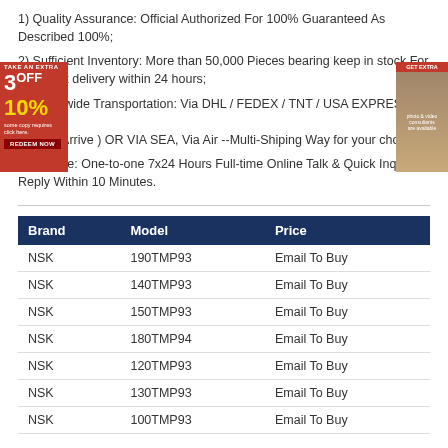1) Quality Assurance: Official Authorized For 100% Guaranteed As Described 100%;
2) Sufficient Inventory: More than 50,000 Pieces bearing keep in stock For fastest delivery within 24 hours;
3) Worldwide Transportation: Via DHL / FEDEX / TNT / USA EXPRESS ( 5-7 Days can Arrive ) OR VIA SEA, Via Air --Multi-Shiping Way for your choice;
4) Service: One-to-one 7x24 Hours Full-time Online Talk & Quick Inquiry Reply Within 10 Minutes.
| Brand | Model | Price |
| --- | --- | --- |
| NSK | 190TMP93 | Email To Buy |
| NSK | 140TMP93 | Email To Buy |
| NSK | 150TMP93 | Email To Buy |
| NSK | 180TMP94 | Email To Buy |
| NSK | 120TMP93 | Email To Buy |
| NSK | 130TMP93 | Email To Buy |
| NSK | 100TMP93 | Email To Buy |